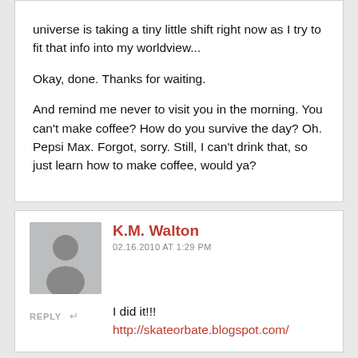universe is taking a tiny little shift right now as I try to fit that info into my worldview...

Okay, done. Thanks for waiting.

And remind me never to visit you in the morning. You can't make coffee? How do you survive the day? Oh. Pepsi Max. Forgot, sorry. Still, I can't drink that, so just learn how to make coffee, would ya?
K.M. Walton
02.16.2010 AT 1:29 PM
I did it!!!
http://skateorbate.blogspot.com/